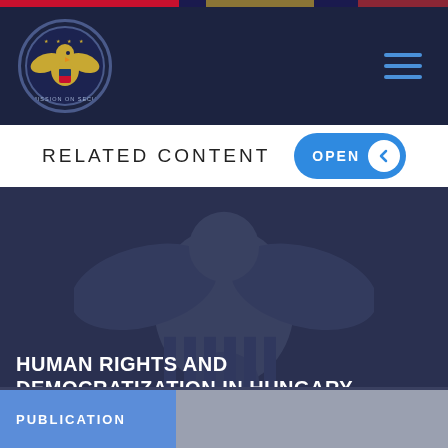Commission on Security and Cooperation in Europe
RELATED CONTENT
[Figure (illustration): Dark hero image featuring an eagle watermark/seal in the background, overlaid with document title text]
HUMAN RIGHTS AND DEMOCRATIZATION IN HUNGARY
WEDNESDAY, DECEMBER 01, 1993
PUBLICATION